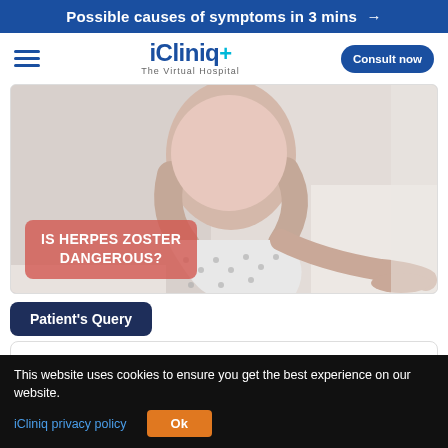Possible causes of symptoms in 3 mins →
[Figure (logo): iCliniq+ The Virtual Hospital logo]
[Figure (photo): Person sitting on bed holding knees, wearing floral pajama pants, with overlay text 'IS HERPES ZOSTER DANGEROUS?']
Patient's Query
This website uses cookies to ensure you get the best experience on our website.
iCliniq privacy policy   Ok